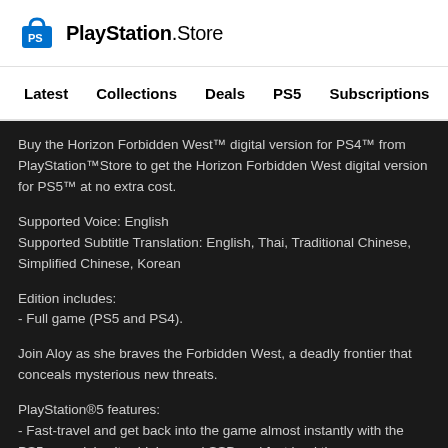[Figure (logo): PlayStation Store logo with blue shopping bag icon]
Latest   Collections   Deals   PS5   Subscriptions >
Buy the Horizon Forbidden West™ digital version for PS4™ from PlayStation™Store to get the Horizon Forbidden West digital version for PS5™ at no extra cost.
Supported Voice: English
Supported Subtitle Translation: English, Thai, Traditional Chinese, Simplified Chinese, Korean
Edition includes:
- Full game (PS5 and PS4).
Join Aloy as she braves the Forbidden West, a deadly frontier that conceals mysterious new threats.
PlayStation®5 features:
- Fast-travel and get back into the game almost instantly with the PS5 console's ultra-high-speed SSD and fast load times.